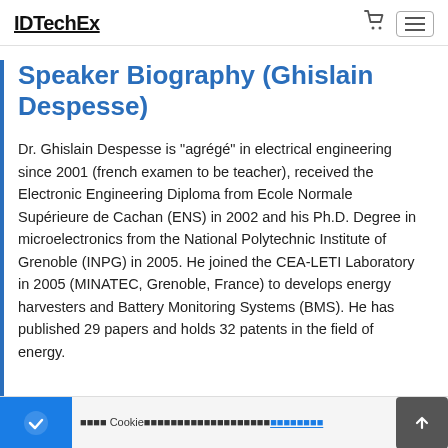IDTechEx
Speaker Biography (Ghislain Despesse)
Dr. Ghislain Despesse is "agrégé" in electrical engineering since 2001 (french examen to be teacher), received the Electronic Engineering Diploma from Ecole Normale Supérieure de Cachan (ENS) in 2002 and his Ph.D. Degree in microelectronics from the National Polytechnic Institute of Grenoble (INPG) in 2005. He joined the CEA-LETI Laboratory in 2005 (MINATEC, Grenoble, France) to develops energy harvesters and Battery Monitoring Systems (BMS). He has published 29 papers and holds 32 patents in the field of energy.
Cookie consent notice